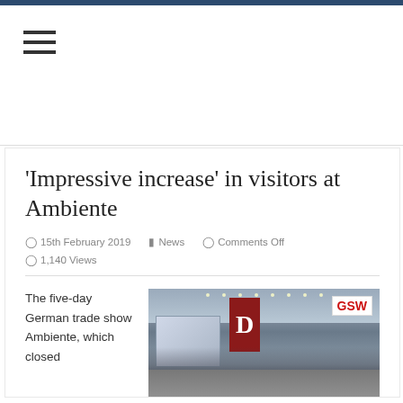‘Impressive increase’ in visitors at Ambiente
15th February 2019  News  Comments Off  1,140 Views
The five-day German trade show Ambiente, which closed
[Figure (photo): Interior of Ambiente trade show hall with booths, a large red banner with letter D, GSW sign in upper right, crowds of visitors on the floor]